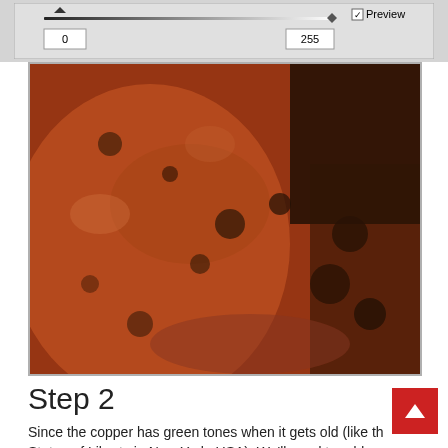[Figure (screenshot): Photoshop levels/curves dialog UI screenshot showing input boxes with values 0 and 255, a slider track, and a Preview checkbox checked]
[Figure (photo): Close-up photo of an aged copper or rust/iron texture with reddish-brown and dark brown tones, rough pitted surface]
Step 2
Since the copper has green tones when it gets old (like the Statue of Liberty in New York, USA). We'll need to add some green details here and there, Create a new layer and set this